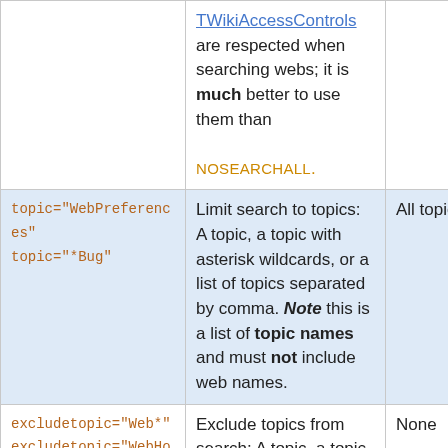| Parameter | Description | Default |
| --- | --- | --- |
| (continuation) | TWikiAccessControls are respected when searching webs; it is much better to use them than NOSEARCHALL. |  |
| topic="WebPreferences"
topic="*Bug" | Limit search to topics: A topic, a topic with asterisk wildcards, or a list of topics separated by comma. Note this is a list of topic names and must not include web names. | All topics in... |
| excludetopic="Web*"
excludetopic="WebHome,
WebChanges" | Exclude topics from search: A topic, a topic with asterisk wildcards, or a list of topics separated by comma. Note this is a list of topic names | None |